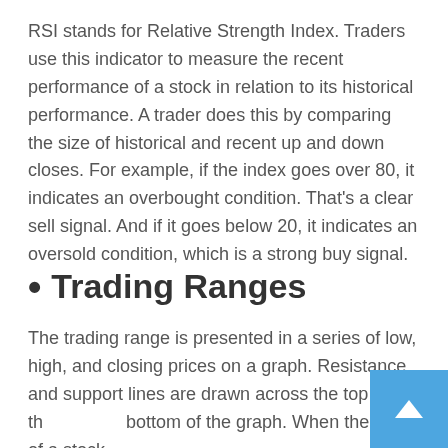RSI stands for Relative Strength Index. Traders use this indicator to measure the recent performance of a stock in relation to its historical performance. A trader does this by comparing the size of historical and recent up and down closes. For example, if the index goes over 80, it indicates an overbought condition. That's a clear sell signal. And if it goes below 20, it indicates an oversold condition, which is a strong buy signal.
Trading Ranges
The trading range is presented in a series of low, high, and closing prices on a graph. Resistance and support lines are drawn across the top and the bottom of the graph. When the price of a stock